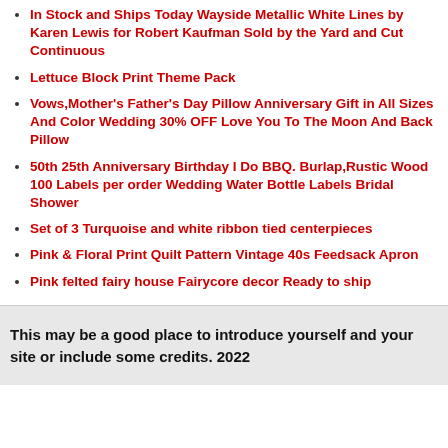In Stock and Ships Today Wayside Metallic White Lines by Karen Lewis for Robert Kaufman Sold by the Yard and Cut Continuous
Lettuce Block Print Theme Pack
Vows,Mother's Father's Day Pillow Anniversary Gift in All Sizes And Color Wedding 30% OFF Love You To The Moon And Back Pillow
50th 25th Anniversary Birthday I Do BBQ. Burlap,Rustic Wood 100 Labels per order Wedding Water Bottle Labels Bridal Shower
Set of 3 Turquoise and white ribbon tied centerpieces
Pink & Floral Print Quilt Pattern Vintage 40s Feedsack Apron
Pink felted fairy house Fairycore decor Ready to ship
This may be a good place to introduce yourself and your site or include some credits. 2022